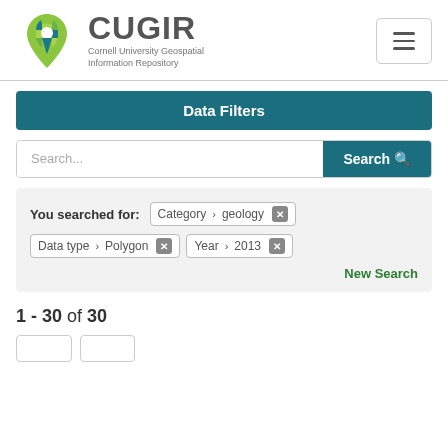[Figure (logo): CUGIR - Cornell University Geospatial Information Repository logo with a map pin icon made of green and teal puzzle pieces]
Data Filters
Search...
You searched for: Category › geology  ✕   Data type › Polygon  ✕   Year › 2013  ✕   New Search
1 - 30 of 30